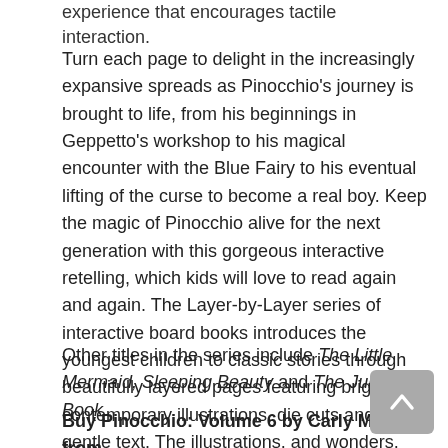experience that encourages tactile interaction.
Turn each page to delight in the increasingly expansive spreads as Pinocchio's journey is brought to life, from his beginnings in Geppetto's workshop to his magical encounter with the Blue Fairy to his eventual lifting of the curse to become a real boy. Keep the magic of Pinocchio alive for the next generation with this gorgeous interactive retelling, which kids will love to read again and again. The Layer-by-Layer series of interactive board books introduces the youngest children to classic stories through beautifully layered pages featuring bright, contemporary illustrations, die cuts and gentle text. The illustrations, and wonders, expand as each new layer is revealed.
Other titles in the series include The Little Mermaid, Sleeping Beauty and The Jungle Book.
Buy Pinocchio: Volume 6 by Carly Madden from